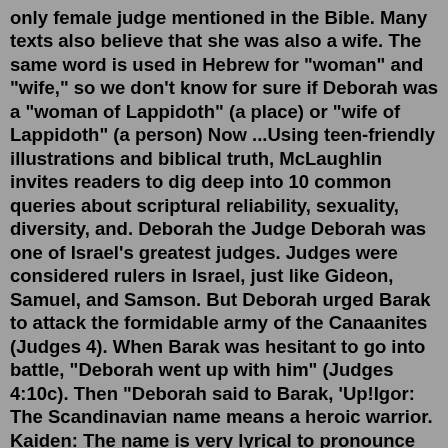only female judge mentioned in the Bible. Many texts also believe that she was also a wife. The same word is used in Hebrew for "woman" and "wife," so we don't know for sure if Deborah was a "woman of Lappidoth" (a place) or "wife of Lappidoth" (a person) Now ...Using teen-friendly illustrations and biblical truth, McLaughlin invites readers to dig deep into 10 common queries about scriptural reliability, sexuality, diversity, and. Deborah the Judge Deborah was one of Israel's greatest judges. Judges were considered rulers in Israel, just like Gideon, Samuel, and Samson. But Deborah urged Barak to attack the formidable army of the Canaanites (Judges 4). When Barak was hesitant to go into battle, "Deborah went up with him" (Judges 4:10c). Then "Deborah said to Barak, 'Up!Igor: The Scandinavian name means a heroic warrior. Kaiden: The name is very lyrical to pronounce and comes from Ireland. Magnar: The Nordic name refers to an especially strong and fierce warrior. Wyatt: This warrior boy name is an Anglo-Saxon one that has been around for ages and is